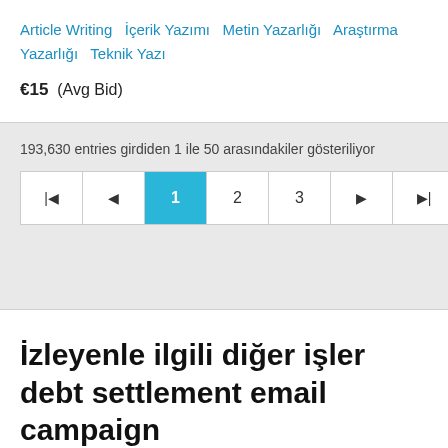Article Writing  İçerik Yazımı  Metin Yazarlığı  Araştırma Yazarlığı  Teknik Yazı
€15  (Avg Bid)
193,630 entries girdiden 1 ile 50 arasındakiler gösteriliyor
[Figure (other): Pagination control showing page buttons: first-page, previous, 1 (active/highlighted in blue), 2, 3, next, last-page]
İzleyenle ilgili diğer işler debt settlement email campaign